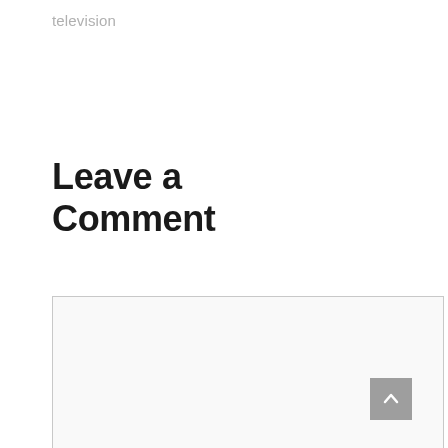television
Leave a Comment
[Figure (screenshot): Large empty comment textarea with light grey border and background, with a resize handle at bottom-right corner]
[Figure (screenshot): Name input field showing placeholder text 'Name *' with light grey border]
[Figure (screenshot): Scroll-to-top button (grey square with upward chevron arrow) overlapping the bottom-right of the comment textarea]